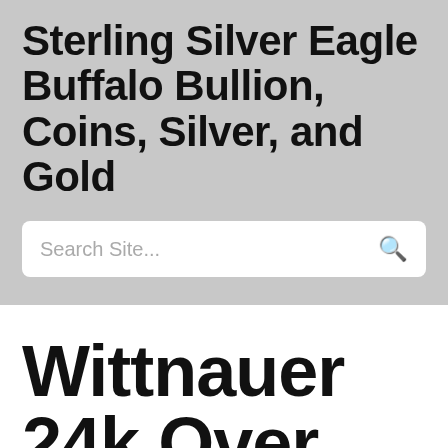Sterling Silver Eagle Buffalo Bullion, Coins, Silver, and Gold
Search Site...
Wittnauer 24k Over